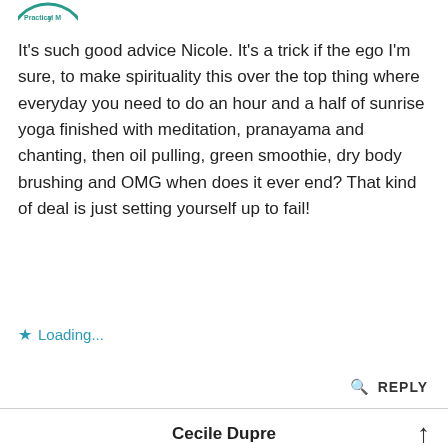[Figure (logo): Partial circular logo with green text 'Practical M...' visible at top left corner]
It's such good advice Nicole. It's a trick if the ego I'm sure, to make spirituality this over the top thing where everyday you need to do an hour and a half of sunrise yoga finished with meditation, pranayama and chanting, then oil pulling, green smoothie, dry body brushing and OMG when does it ever end? That kind of deal is just setting yourself up to fail!
★  Loading...
🔍  REPLY
Cecile Dupre
06 May 2015, Wednesday at 6:02 AM